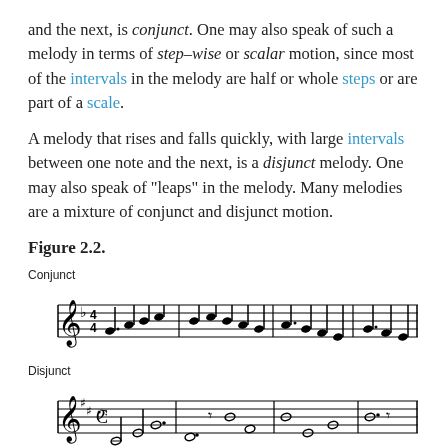and the next, is conjunct. One may also speak of such a melody in terms of step-wise or scalar motion, since most of the intervals in the melody are half or whole steps or are part of a scale.
A melody that rises and falls quickly, with large intervals between one note and the next, is a disjunct melody. One may also speak of "leaps" in the melody. Many melodies are a mixture of conjunct and disjunct motion.
Figure 2.2.
[Figure (illustration): Music staff showing Conjunct melody example in F major, 4/4 time, with stepwise note motion across multiple measures.]
[Figure (illustration): Music staff showing Disjunct melody example in G major common time, with large leaps between notes across multiple measures.]
[Figure (illustration): Music staff beginning showing Mixed melody example (partially visible).]